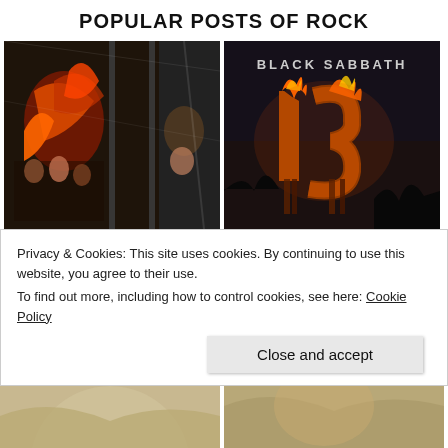POPULAR POSTS OF ROCK
[Figure (photo): Rock band CD cases with colorful artwork showing a tiger and band members]
[Figure (photo): Black Sabbath '13' album cover with flaming number 13 on dark background]
[Figure (photo): Ozzy Osbourne wearing purple tinted sunglasses in front of a building]
[Figure (photo): Verbatim CD with Van Halen logo burned onto it]
Privacy & Cookies: This site uses cookies. By continuing to use this website, you agree to their use.
To find out more, including how to control cookies, see here: Cookie Policy
Close and accept
[Figure (photo): Partial bottom strip showing two more rock-related images]
[Figure (photo): Partial bottom strip second image]